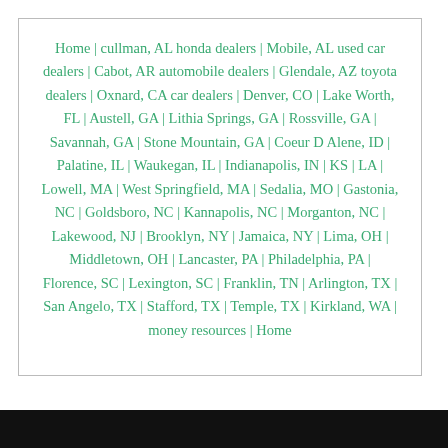Home | cullman, AL honda dealers | Mobile, AL used car dealers | Cabot, AR automobile dealers | Glendale, AZ toyota dealers | Oxnard, CA car dealers | Denver, CO | Lake Worth, FL | Austell, GA | Lithia Springs, GA | Rossville, GA | Savannah, GA | Stone Mountain, GA | Coeur D Alene, ID | Palatine, IL | Waukegan, IL | Indianapolis, IN | KS | LA | Lowell, MA | West Springfield, MA | Sedalia, MO | Gastonia, NC | Goldsboro, NC | Kannapolis, NC | Morganton, NC | Lakewood, NJ | Brooklyn, NY | Jamaica, NY | Lima, OH | Middletown, OH | Lancaster, PA | Philadelphia, PA | Florence, SC | Lexington, SC | Franklin, TN | Arlington, TX | San Angelo, TX | Stafford, TX | Temple, TX | Kirkland, WA | money resources | Home